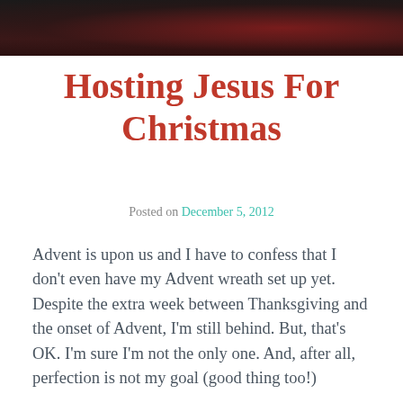[Figure (photo): Dark photograph strip at top of blog page, showing blurred dark background with reddish lighting]
Hosting Jesus For Christmas
Posted on December 5, 2012
Advent is upon us and I have to confess that I don't even have my Advent wreath set up yet. Despite the extra week between Thanksgiving and the onset of Advent, I'm still behind.  But, that's OK.  I'm sure I'm not the only one.  And, after all, perfection is not my goal (good thing too!)
This is the time of year when I start thinking about how to keep my and my family's focus on